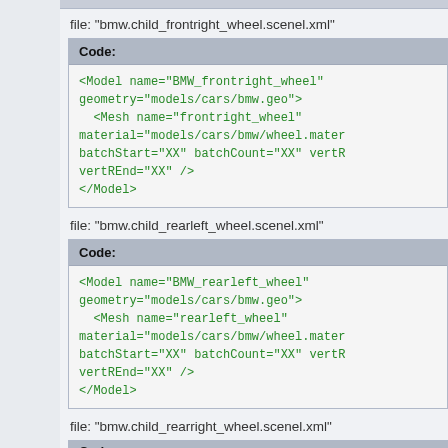file: "bmw.child_frontright_wheel.scenel.xml"
Code:
<Model name="BMW_frontright_wheel" geometry="models/cars/bmw.geo">
  <Mesh name="frontright_wheel" material="models/cars/bmw/wheel.mater batchStart="XX" batchCount="XX" vertR vertREnd="XX" />
</Model>
file: "bmw.child_rearleft_wheel.scenel.xml"
Code:
<Model name="BMW_rearleft_wheel" geometry="models/cars/bmw.geo">
  <Mesh name="rearleft_wheel" material="models/cars/bmw/wheel.mater batchStart="XX" batchCount="XX" vertR vertREnd="XX" />
</Model>
file: "bmw.child_rearright_wheel.scenel.xml"